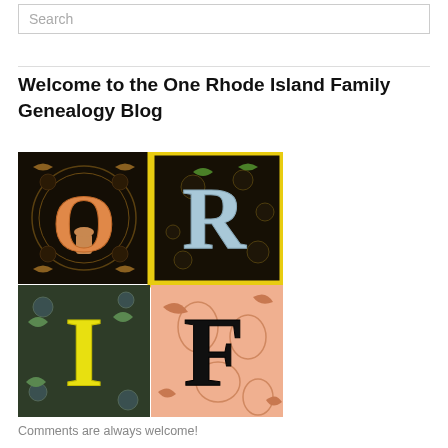Search
Welcome to the One Rhode Island Family Genealogy Blog
[Figure (logo): Four-panel logo with decorative illuminated letters O, R, I, F on ornate backgrounds: O on black with orange letter, R on black with yellow border and light blue letter, I on dark green with yellow letter, F on peach/salmon with black letter - representing ORIF / One Rhode Island Family]
Comments are always welcome!